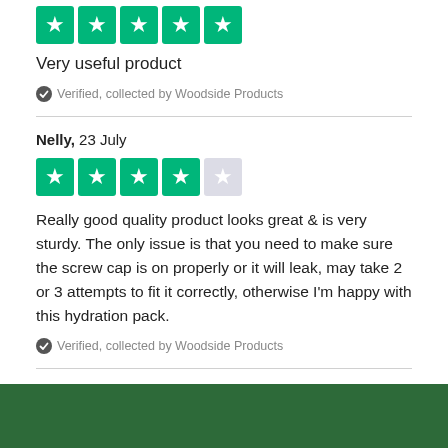[Figure (other): 5 green star rating boxes (Trustpilot style)]
Very useful product
Verified, collected by Woodside Products
Nelly, 23 July
[Figure (other): 4 green star rating boxes and 1 gray star box (Trustpilot style, 4 out of 5)]
Really good quality product looks great & is very sturdy. The only issue is that you need to make sure the screw cap is on properly or it will leak, may take 2 or 3 attempts to fit it correctly, otherwise I'm happy with this hydration pack.
Verified, collected by Woodside Products
L. Etienne, 20 July